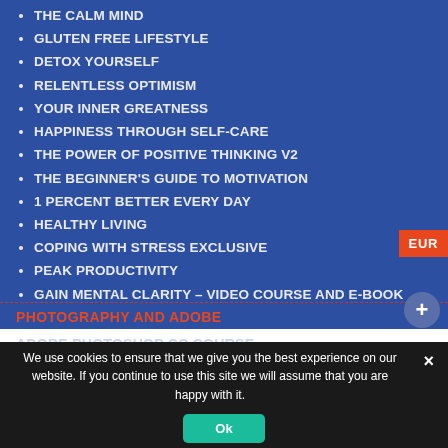THE CALM MIND
GLUTEN FREE LIFESTYLE
DETOX YOURSELF
RELENTLESS OPTIMISM
YOUR INNER GREATNESS
HAPPINESS THROUGH SELF-CARE
THE POWER OF POSITIVE THINKING V2
THE BEGINNER'S GUIDE TO MOTIVATION
1 PERCENT BETTER EVERY DAY
HEALTHY LIVING
COPING WITH STRESS EXCLUSIVE
PEAK PRODUCTIVITY
GAIN MENTAL CLARITY – VIDEO COURSE AND E-BOOK
PHOTOGRAPHY AND ADOBE
ADOBE PHOTOSHOP CC COURSE
We use cookies to ensure that we give you the best experience on our website. If you continue to use this site we will assume that you are happy with it.